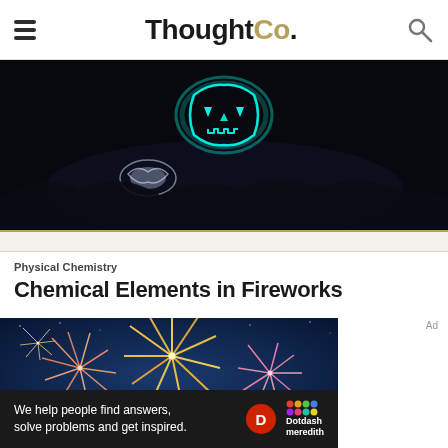ThoughtCo.
[Figure (photo): Dark image with a glowing teal jack-o-lantern face in the background and a glowing object in the foreground, on a dark leaf-covered surface]
[Figure (photo): Colorful fireworks exploding against a deep blue night sky]
Physical Chemistry
Chemical Elements in Fireworks
We help people find answers, solve problems and get inspired.
[Figure (logo): Dotdash Meredith logo with red D circle and colorful dots grid]